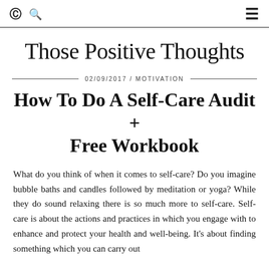Those Positive Thoughts
Those Positive Thoughts
02/09/2017 / MOTIVATION
How To Do A Self-Care Audit + Free Workbook
What do you think of when it comes to self-care? Do you imagine bubble baths and candles followed by meditation or yoga? While they do sound relaxing there is so much more to self-care. Self-care is about the actions and practices in which you engage with to enhance and protect your health and well-being. It’s about finding something which you can carry out